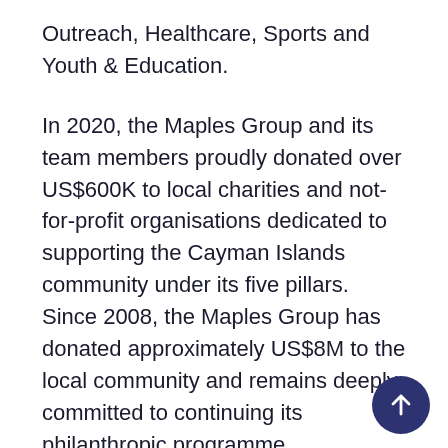Outreach, Healthcare, Sports and Youth & Education.
In 2020, the Maples Group and its team members proudly donated over US$600K to local charities and not-for-profit organisations dedicated to supporting the Cayman Islands community under its five pillars. Since 2008, the Maples Group has donated approximately US$8M to the local community and remains deeply committed to continuing its philanthropic programme.
To keep up to date with the Maples Group philanthropic efforts, follow the Maples Group Facebook page and Instagram page